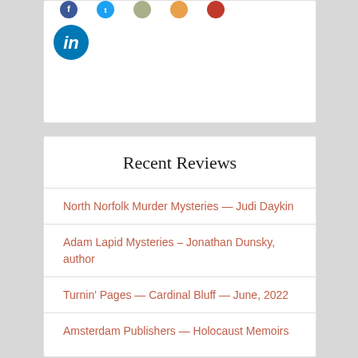[Figure (logo): Row of social media icon circles (partial, cropped at top) and a LinkedIn icon circle below]
Recent Reviews
North Norfolk Murder Mysteries — Judi Daykin
Adam Lapid Mysteries – Jonathan Dunsky, author
Turnin' Pages — Cardinal Bluff — June, 2022
Amsterdam Publishers — Holocaust Memoirs